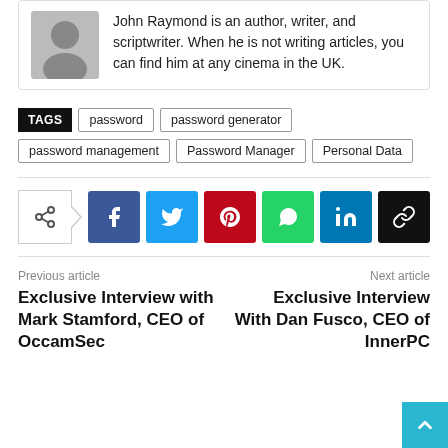John Raymond is an author, writer, and scriptwriter. When he is not writing articles, you can find him at any cinema in the UK.
TAGS  password  password generator  password management  Password Manager  Personal Data
[Figure (infographic): Social share buttons: share icon, Facebook (blue), Twitter (light blue), Pinterest (red), WhatsApp (green), LinkedIn (dark blue), link/copy (black)]
Previous article
Exclusive Interview with Mark Stamford, CEO of OccamSec
Next article
Exclusive Interview With Dan Fusco, CEO of InnerPC